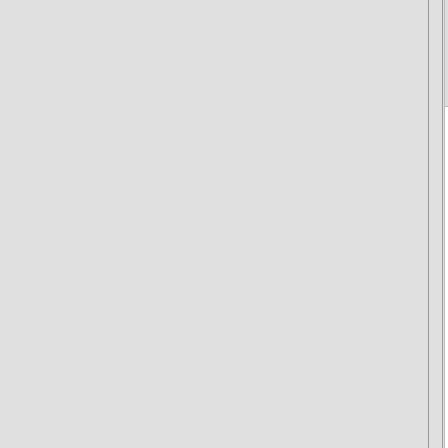InfinitePossibilities on December 28, 2006 - 6:53pm Permalink | Parent | Comments top
Just curious... how does this square with (some) state governments being more flexible regarding energy policy and environmental protection than the federal government? Is there an inversion in the system on some level where states are more willing to implement change than counties? Or is it simply a matter of resources